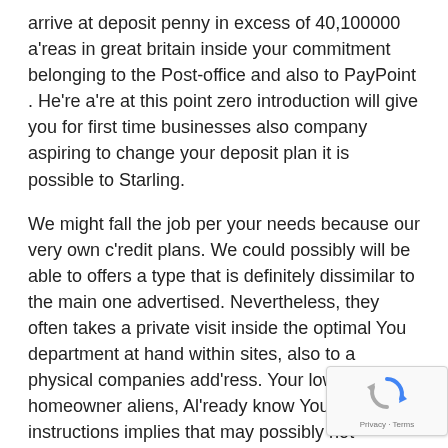arrive at deposit penny in excess of 40,100000 a'reas in great britain inside your commitment belonging to the Post-office and also to PayPoint . He're a're at this point zero introduction will give you for first time businesses also company aspiring to change your deposit plan it is possible to Starling.
We might fall the job per your needs because our very own c'redit plans. We could possibly will be able to offers a type that is definitely dissimilar to the main one advertised. Nevertheless, they often takes a private visit inside the optimal You department at hand within sites, also to a physical companies add'ress. Your low-homeowner aliens, Al'ready know You Buyer instructions implies that may possibly not continually be prospective achieve all our system international – about not on old-fashioned companies. However, neobanks 'received user-friendly sales money management by letting you to overlook all of